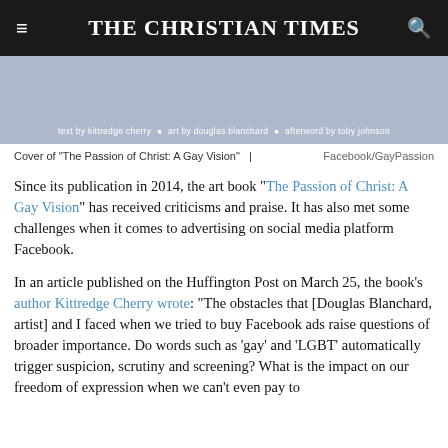THE CHRISTIAN TIMES
[Figure (photo): Book cover image of 'The Passion of Christ: A Gay Vision' with text: text by kittredge cherry, art by douglas blanchard, afterword by toby johnson]
Cover of "The Passion of Christ: A Gay Vision" | Facebook/GayPassion
Since its publication in 2014, the art book "The Passion of Christ: A Gay Vision" has received criticisms and praise. It has also met some challenges when it comes to advertising on social media platform Facebook.
In an article published on the Huffington Post on March 25, the book's author Kittredge Cherry wrote: "The obstacles that [Douglas Blanchard, artist] and I faced when we tried to buy Facebook ads raise questions of broader importance. Do words such as 'gay' and 'LGBT' automatically trigger suspicion, scrutiny and screening? What is the impact on our freedom of expression when we can't even pay to